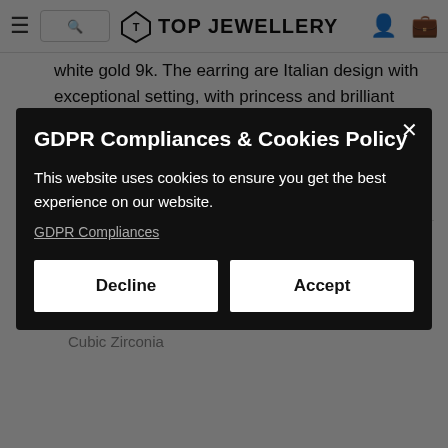TOP JEWELLERY
white gold 9k. The earring are Italian design with exceptional setting, with princess and brilliant cut cubic zirconia stones. The earring have a secure and easy lock function.
Makes them viable for kids, women and even outstanding reflecting qualities.
Size:
10 mm
Metal:
9k White Gold
Stone:
Cubic Zirconia
GDPR Compliances & Cookies Policy
This website uses cookies to ensure you get the best experience on our website.
GDPR Compliances
Decline
Accept